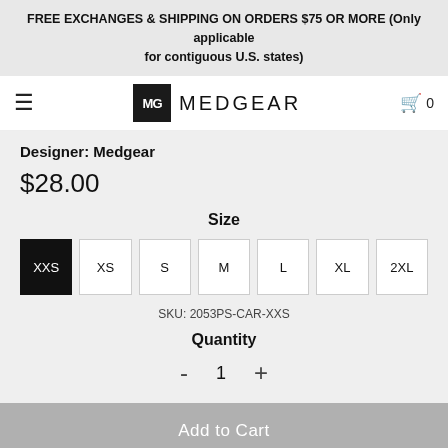FREE EXCHANGES & SHIPPING ON ORDERS $75 OR MORE (Only applicable for contiguous U.S. states)
MG MEDGEAR  0
Designer: Medgear
$28.00
Size
XXS
XS
S
M
L
XL
2XL
SKU: 2053PS-CAR-XXS
Quantity
- 1 +
Add to Cart